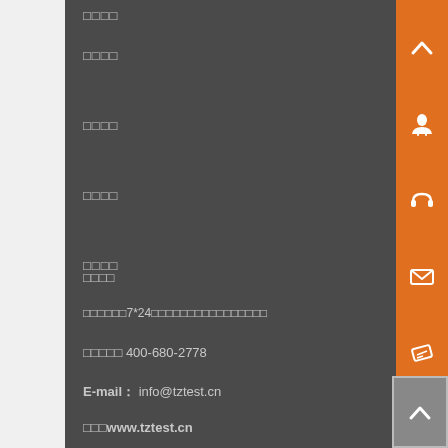□□□□
□□□□
□□□□
□□□□
□□□□
□□□□□□7*24□□□□□□□□□□□□□□□□
□□□□□ 400-680-2778
E-mail： info@tztest.cn
□□□www.tztest.cn